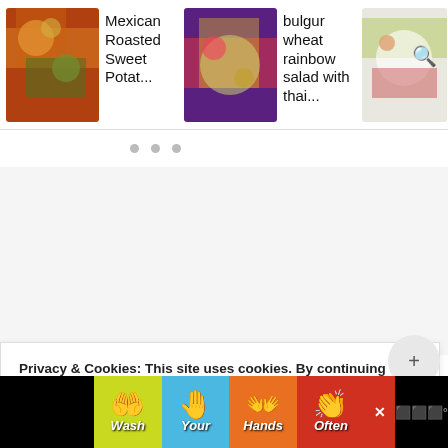[Figure (screenshot): Recipe card strip showing three food items: 'Mexican Roasted Sweet Potat...', 'bulgur wheat rainbow salad with thai...', and 'Easy greek salad th... vegan cas...' with food photos and a search icon overlay on the third card]
[Figure (screenshot): Carousel pagination dots (three gray dots)]
[Figure (screenshot): Large empty white/gray advertisement placeholder area]
Notes
Privacy & Cookies: This site uses cookies. By continuing to use this website, you agree to their use.
To find out more, including how to control cookies, see here: Cookie Policy
[Figure (screenshot): Bottom advertisement banner: Wash Your Hands Often with colorful hand-washing graphic panels and an X close button]